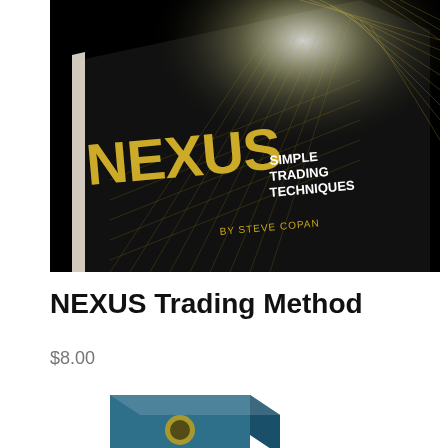[Figure (photo): Book cover photo of 'NEXUS Simple Trading Techniques by Steve Copan' — a black book with gold text on a dark background, tilted at an angle]
NEXUS Trading Method
$8.00
[Figure (photo): Partial view of a second product — a teal/blue box product, partially visible at the bottom of the page]